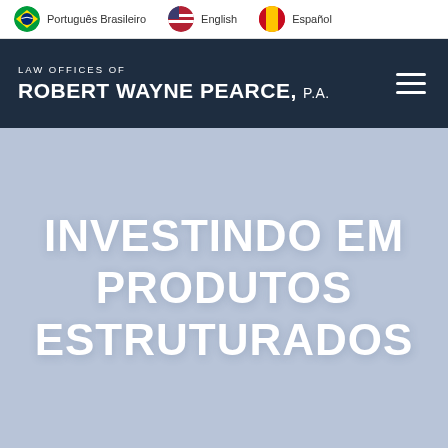Português Brasileiro | English | Español
LAW OFFICES OF ROBERT WAYNE PEARCE, P.A.
INVESTINDO EM PRODUTOS ESTRUTURADOS